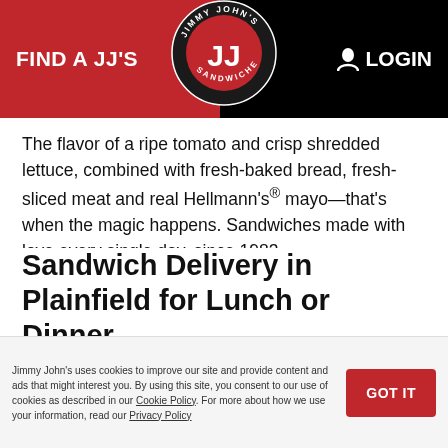FIND A JJ'S   [Jimmy John's Logo]   LOGIN
The flavor of a ripe tomato and crisp shredded lettuce, combined with fresh-baked bread, fresh-sliced meat and real Hellmann's® mayo—that's when the magic happens. Sandwiches made with love every single day, since 1983.
Sandwich Delivery in Plainfield for Lunch or Dinner
If you need sandwich delivery, your Plainfield Jimmy John's has you covered. We'll even deliver one sandwich.
...through the Jimmy
Jimmy John's uses cookies to improve our site and provide content and ads that might interest you. By using this site, you consent to our use of cookies as described in our Cookie Policy. For more about how we use your information, read our Privacy Policy.
GOT IT